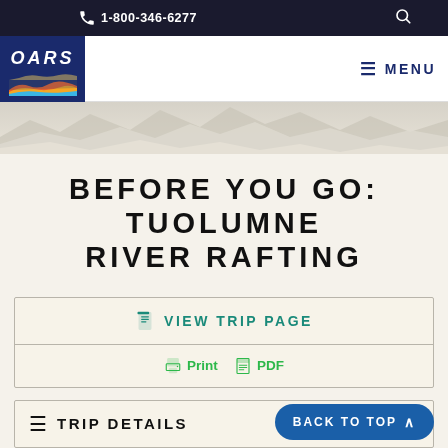1-800-346-6277
[Figure (logo): OARS logo with rainbow/river graphic on dark blue background]
[Figure (photo): Mountain/landscape hero image in muted beige tones]
BEFORE YOU GO: TUOLUMNE RIVER RAFTING
VIEW TRIP PAGE
Print  PDF
TRIP DETAILS